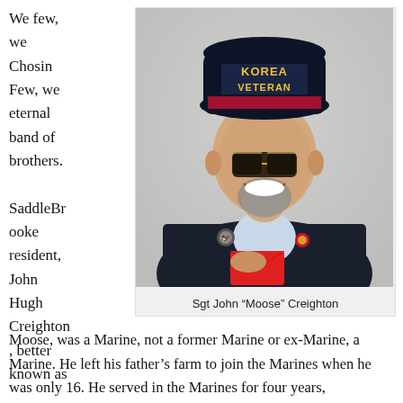We few, we Chosin Few, we eternal band of brothers.

SaddleBrooke resident, John Hugh Creighton, better known as
[Figure (photo): Elderly man smiling, wearing a dark navy Korea Veteran baseball cap with ribbons, aviator sunglasses, dark blazer with pins, holding a red envelope. Portrait style photo.]
Sgt John “Moose” Creighton
Moose, was a Marine, not a former Marine or ex-Marine, a Marine. He left his father’s farm to join the Marines when he was only 16. He served in the Marines for four years,